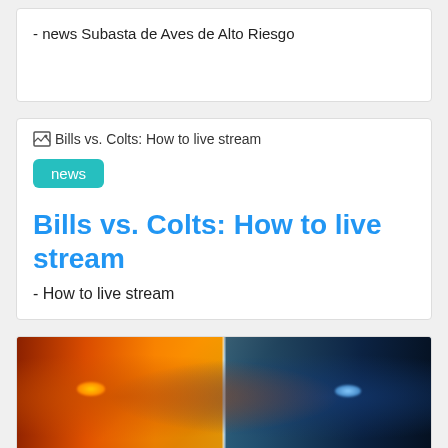- news Subasta de Aves de Alto Riesgo
[Figure (other): Broken image placeholder for Bills vs. Colts: How to live stream article thumbnail]
news
Bills vs. Colts: How to live stream
- How to live stream
[Figure (photo): Movie or game promotional image showing two faces split down the middle: left side with orange fire/flame eye, right side with blue ice/lightning eye against dark background]